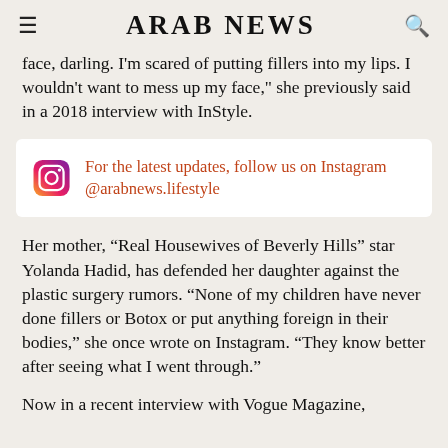ARAB NEWS
face, darling. I'm scared of putting fillers into my lips. I wouldn't want to mess up my face," she previously said in a 2018 interview with InStyle.
[Figure (infographic): Instagram follow box: For the latest updates, follow us on Instagram @arabnews.lifestyle]
Her mother, “Real Housewives of Beverly Hills” star Yolanda Hadid, has defended her daughter against the plastic surgery rumors. “None of my children have never done fillers or Botox or put anything foreign in their bodies,” she once wrote on Instagram. “They know better after seeing what I went through.”
Now in a recent interview with Vogue Magazine,